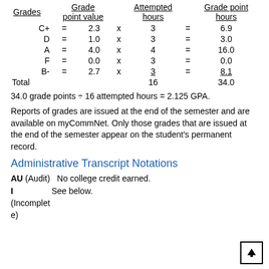| Grades | Grade point value | Attempted hours | Grade point hours |
| --- | --- | --- | --- |
| C+ | = | 2.3 | x | 3 | = | 6.9 |
| D | = | 1.0 | x | 3 | = | 3.0 |
| A | = | 4.0 | x | 4 | = | 16.0 |
| F | = | 0.0 | x | 3 | = | 0.0 |
| B- | = | 2.7 | x | 3 | = | 8.1 |
| Total |  |  |  | 16 |  | 34.0 |
34.0 grade points ÷ 16 attempted hours = 2.125 GPA.
Reports of grades are issued at the end of the semester and are available on myCommNet. Only those grades that are issued at the end of the semester appear on the student's permanent record.
Administrative Transcript Notations
AU (Audit)  No college credit earned.
I (Incomplete)  See below.